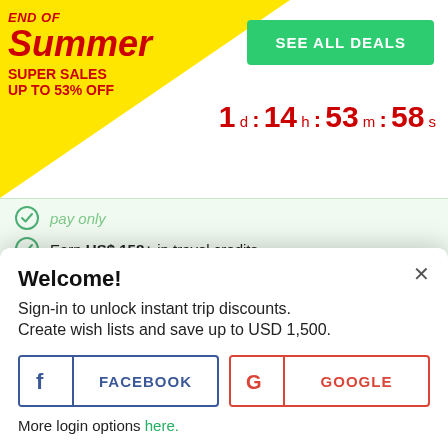[Figure (infographic): End of Summer Super Sales promotional banner with yellow triangle background, red italic text reading END OF Summer SUPER SALES UP TO 53% OFF, green SEE ALL DEALS button, and red countdown timer showing 1 d : 14 h : 53 m : 58 s]
Earn US$ 158+ in travel credits.
Best price guaranteed.
No credit card or booking fees.
Carbon neutral tours.
Read more reasons to book with Bookmundi
Welcome!
Sign-in to unlock instant trip discounts.
Create wish lists and save up to USD 1,500.
[Figure (screenshot): Facebook login button with blue border and Facebook F icon]
[Figure (screenshot): Google login button with red border and Google G icon]
More login options here.